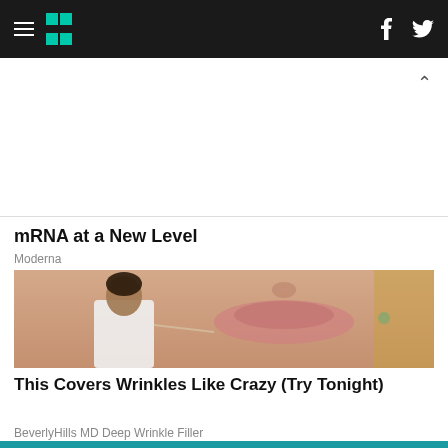HuffPost — hamburger menu, logo, social icons (f, Twitter)
mRNA at a New Level
Moderna
[Figure (photo): Close-up of a woman's lower face showing full lips, while a man in a white coat holds a fine instrument near her lip as if administering a cosmetic filler injection.]
This Covers Wrinkles Like Crazy (Try Tonight)
BeverlyHills MD Deep Wrinkle Filler